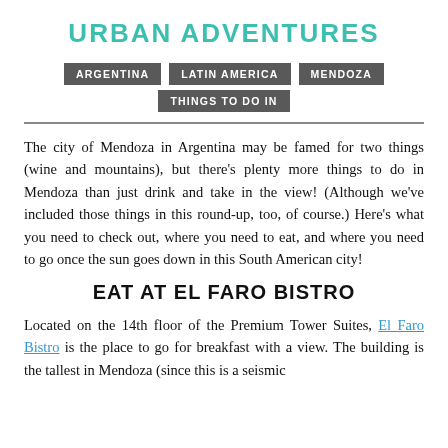URBAN ADVENTURES
ARGENTINA
LATIN AMERICA
MENDOZA
THINGS TO DO IN
The city of Mendoza in Argentina may be famed for two things (wine and mountains), but there's plenty more things to do in Mendoza than just drink and take in the view! (Although we've included those things in this round-up, too, of course.) Here's what you need to check out, where you need to eat, and where you need to go once the sun goes down in this South American city!
EAT AT EL FARO BISTRO
Located on the 14th floor of the Premium Tower Suites, El Faro Bistro is the place to go for breakfast with a view. The building is the tallest in Mendoza (since this is a seismic